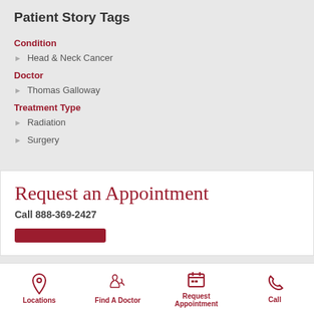Patient Story Tags
Condition
Head & Neck Cancer
Doctor
Thomas Galloway
Treatment Type
Radiation
Surgery
Request an Appointment
Call 888-369-2427
Locations | Find A Doctor | Request Appointment | Call